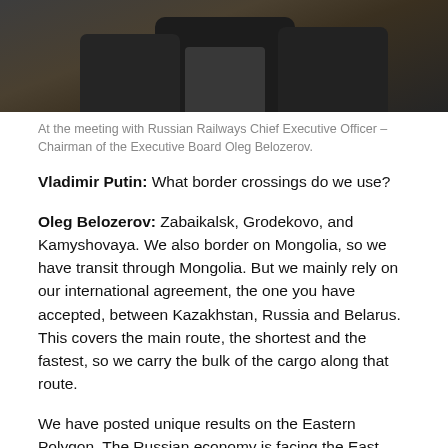[Figure (photo): Photo of meeting with Russian Railways Chief Executive Officer, showing figures in dark suits at a table.]
At the meeting with Russian Railways Chief Executive Officer – Chairman of the Executive Board Oleg Belozerov.
Vladimir Putin: What border crossings do we use?
Oleg Belozerov: Zabaikalsk, Grodekovo, and Kamyshovaya. We also border on Mongolia, so we have transit through Mongolia. But we mainly rely on our international agreement, the one you have accepted, between Kazakhstan, Russia and Belarus. This covers the main route, the shortest and the fastest, so we carry the bulk of the cargo along that route.
We have posted unique results on the Eastern Polygon. The Russian economy is facing the East more actively, all parameters have been surpassed, the east-bound freight traffic rate has increased by 2.5 percent, and port shipments are up 8.5 percent.